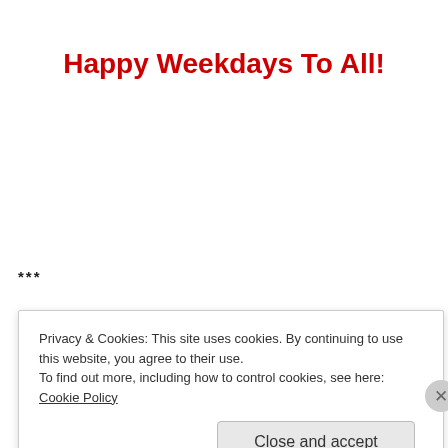Happy Weekdays To All!
***
Privacy & Cookies: This site uses cookies. By continuing to use this website, you agree to their use.
To find out more, including how to control cookies, see here: Cookie Policy
Close and accept